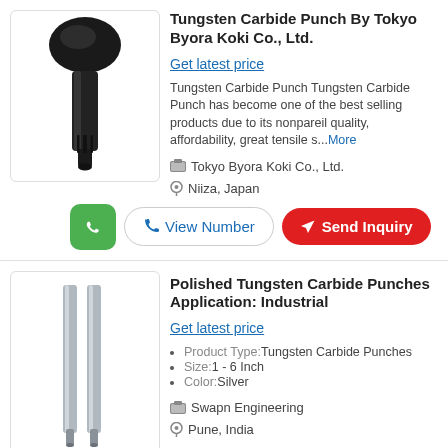[Figure (photo): Tungsten carbide punch tool, dark metallic, with flared head and narrow cylindrical shaft]
Tungsten Carbide Punch By Tokyo Byora Koki Co., Ltd.
Get latest price
Tungsten Carbide Punch Tungsten Carbide Punch has become one of the best selling products due to its nonpareil quality, affordability, great tensile s...More
Tokyo Byora Koki Co., Ltd.
Niiza, Japan
[Figure (photo): Two polished tungsten carbide punch rods, silver colored, long and cylindrical with small tips at bottom]
Polished Tungsten Carbide Punches Application: Industrial
Get latest price
Product Type:Tungsten Carbide Punches
Size:1 - 6 Inch
Color:Silver
Swapn Engineering
Pune, India